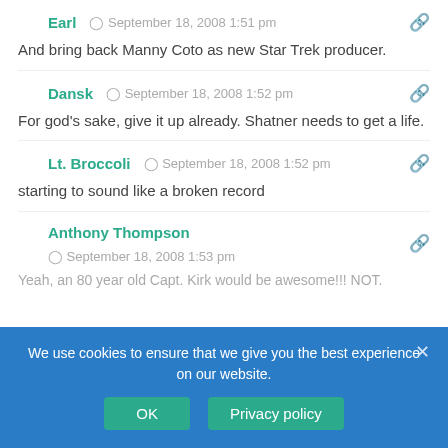Earl  ⊙  September 18, 2008 1:51 pm
And bring back Manny Coto as new Star Trek producer.
Dansk  ⊙  September 18, 2008 1:52 pm
For god's sake, give it up already. Shatner needs to get a life.
Lt. Broccoli  ⊙  September 18, 2008 1:52 pm
starting to sound like a broken record
Anthony Thompson
⊙  September 18, 2008 1:53 pm
Yeah, an 80 year old Capt. Kirk would be awesome!!! NOT.
We use cookies to ensure that we give you the best experience on our website.